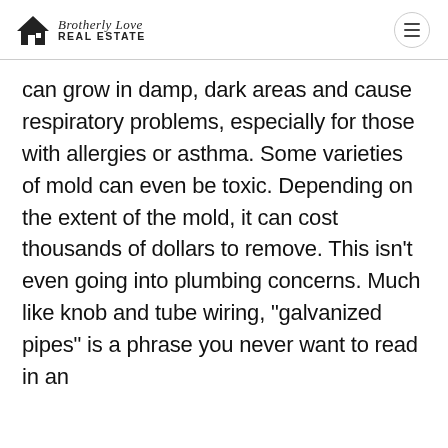Brotherly Love REAL ESTATE
can grow in damp, dark areas and cause respiratory problems, especially for those with allergies or asthma. Some varieties of mold can even be toxic. Depending on the extent of the mold, it can cost thousands of dollars to remove. This isn’t even going into plumbing concerns. Much like knob and tube wiring, “galvanized pipes” is a phrase you never want to read in an